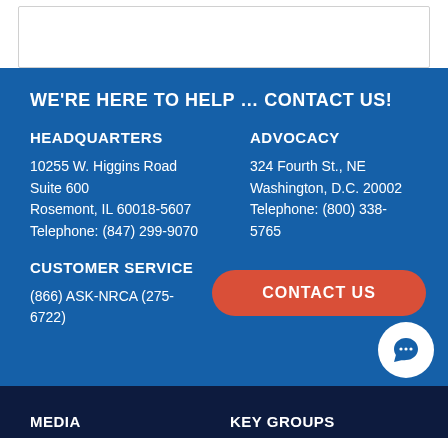WE'RE HERE TO HELP … CONTACT US!
HEADQUARTERS
10255 W. Higgins Road
Suite 600
Rosemont, IL 60018-5607
Telephone: (847) 299-9070
ADVOCACY
324 Fourth St., NE
Washington, D.C. 20002
Telephone: (800) 338-5765
CUSTOMER SERVICE
(866) ASK-NRCA (275-6722)
[Figure (other): Red rounded button labeled CONTACT US]
[Figure (other): White circle chat bubble icon]
MEDIA
KEY GROUPS